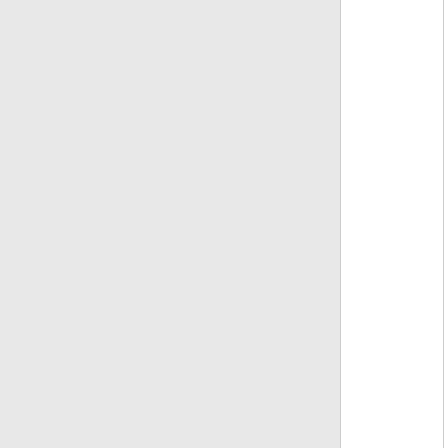|  | Version | Changelog |
| --- | --- | --- |
|  |  | (https://github.com/phalcon/cphalco
- `Phalcon\Di\FactoryDefault()` to s
services [#15847](https://github.co
- `Phalcon\Forms\Element\Abstrac
return the tagFactory from itself, th
[#15847](https://github.com/phalco
- Changed references to `sha1` wi
that there are no collisions from the
(https://github.com/phalcon/cphalc
- Changed `Phalcon\Support\Helpe
boolean parameter indicating whet
capitalized or not [#15850]
(https://github.com/phalco

## Added
- Added `Phalcon\Support\Helper\S
`Phalcon\Support\Helper\Str\Pasca
`Phalcon\Support\Helper\Str\Snake
(https://github.com/phalcon/cphalc |
|  | 5.0.0beta1 | Full changelog can be found at:
https://github.com/phalcon/cphalco
5.0.md

## Changed
- Marked as deprecated:
- `Phalcon\Mvc\Model::existsBelo
- `Phalcon\Mvc\Model::existsHasM
- `Phalcon\Mvc\Model::existsHasO |